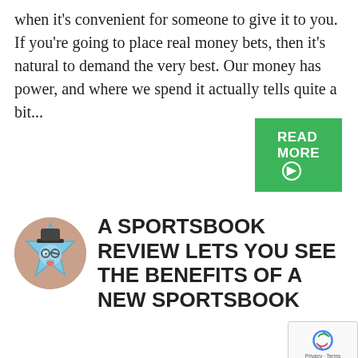when it's convenient for someone to give it to you. If you're going to place real money bets, then it's natural to demand the very best. Our money has power, and where we spend it actually tells quite a bit...
[Figure (other): Green 'READ MORE' button with arrow icon]
[Figure (logo): Circular logo with cartoon star character wearing glasses and hat on brownish-tan background]
A SPORTSBOOK REVIEW LETS YOU SEE THE BENEFITS OF A NEW SPORTSBOOK